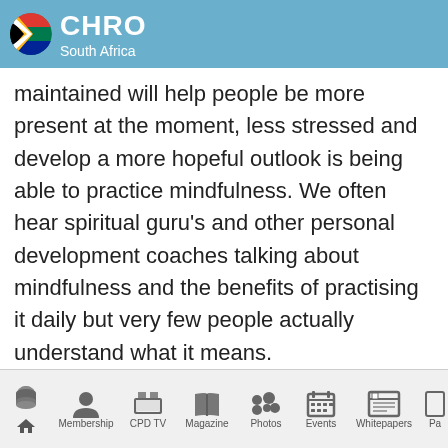CHRO South Africa
maintained will help people be more present at the moment, less stressed and develop a more hopeful outlook is being able to practice mindfulness. We often hear spiritual guru's and other personal development coaches talking about mindfulness and the benefits of practising it daily but very few people actually understand what it means.
Mindfulness means the practice of paying attention in the present moment and doing it intentionally and with non-judgment. For instance, when you practice
Home | Membership | CPD TV | Magazine | Photos | Events | Whitepapers | Pa...